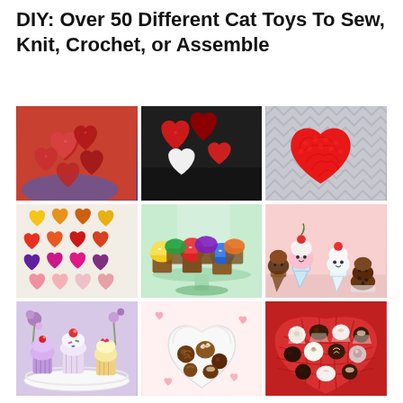DIY: Over 50 Different Cat Toys To Sew, Knit, Crochet, or Assemble
[Figure (photo): Cluster of red crocheted heart-shaped cat toys held in a hand]
[Figure (photo): Red and white fabric stuffed hearts on dark background]
[Figure (photo): Large crocheted red heart on grey chevron background]
[Figure (photo): Grid of colorful felt hearts in various colors arranged in rows]
[Figure (photo): Rainbow-colored crocheted cupcakes on a glass cake stand]
[Figure (photo): Kawaii-style stuffed ice cream cone and sundae figures with faces]
[Figure (photo): Knitted or crocheted pastel cupcakes on a white plate with flowers]
[Figure (photo): Chocolate truffle cat toys in a heart-shaped white dish with pink hearts]
[Figure (photo): Assorted crocheted chocolate bonbons/truffles in a red heart-shaped basket]